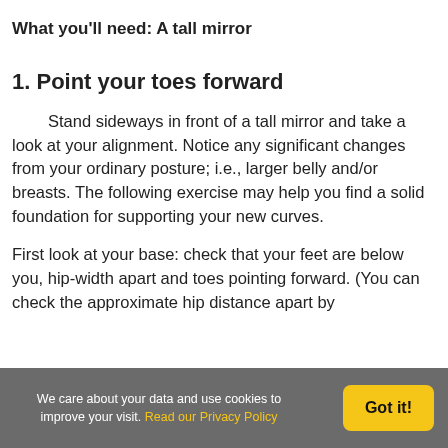What you'll need: A tall mirror
1. Point your toes forward
Stand sideways in front of a tall mirror and take a look at your alignment. Notice any significant changes from your ordinary posture; i.e., larger belly and/or breasts. The following exercise may help you find a solid foundation for supporting your new curves.
First look at your base: check that your feet are below you, hip-width apart and toes pointing forward. (You can check the approximate hip distance apart by
We care about your data and use cookies to improve your visit. Read our Privacy Policy